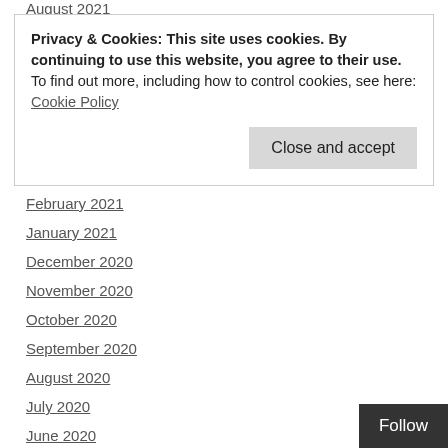August 2021
Privacy & Cookies: This site uses cookies. By continuing to use this website, you agree to their use.
To find out more, including how to control cookies, see here: Cookie Policy
February 2021
January 2021
December 2020
November 2020
October 2020
September 2020
August 2020
July 2020
June 2020
May 2020
April 2020
March 2020
February 2020